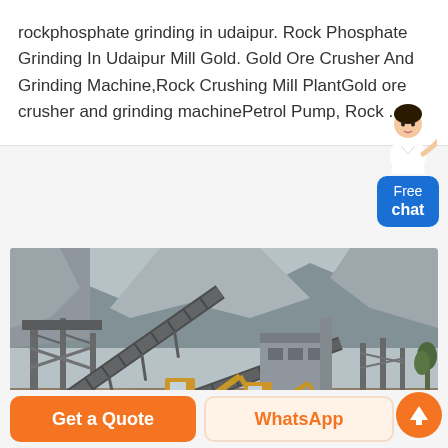rockphosphate grinding in udaipur. Rock Phosphate Grinding In Udaipur Mill Gold. Gold Ore Crusher And Grinding Machine,Rock Crushing Mill PlantGold ore crusher and grinding machinePetrol Pump, Rock ...
[Figure (photo): A mining site with industrial conveyor belts, yellow excavators, and rock crushing equipment set against a mountainous backdrop with rock faces and hillside terrain.]